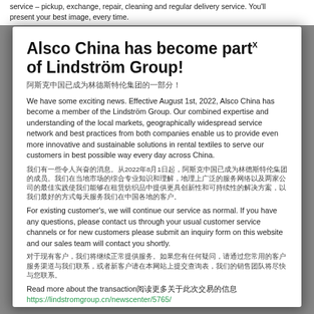service – pickup, exchange, repair, cleaning and regular delivery service. You'll present your best image, every time.
Alsco China has become partX of Lindström Group!
阿斯克中国已成为林德斯特伦集团的一部分！
We have some exciting news. Effective August 1st, 2022, Alsco China has become a member of the Lindström Group. Our combined expertise and understanding of the local markets, geographically widespread service network and best practices from both companies enable us to provide even more innovative and sustainable solutions in rental textiles to serve our customers in best possible way every day across China.
我们有一些令人兴奋的消息。从2022年8月1日起，阿斯克中国已成为林德斯特伦集团的成员。我们在当地市场的综合专业知识和理解，地理上广泛的服务网络以及两家公司的最佳实践使我们能够在租赁纺织品中提供更具创新性和可持续性的解决方案，以我们最好的方式每天服务我们在中国各地的客户。
For existing customer's, we will continue our service as normal. If you have any questions, please contact us through your usual customer service channels or for new customers please submit an inquiry form on this website and our sales team will contact you shortly.
对于现有客户，我们将继续正常提供服务。如果您有任何疑问，请通过您常用的客户服务渠道与我们联系，或者新客户请在本网站上提交查询表，我们的销售团队将尽快与您联系。
Read more about the transaction阅读更多关于此次交易的信息
https://lindstromgroup.cn/newscenter/5765/